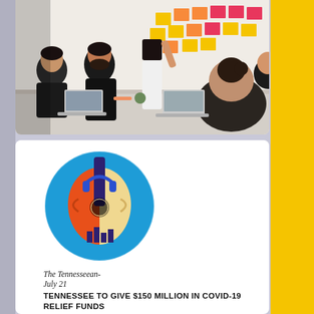[Figure (photo): Office meeting scene with people gathered around a table; a woman stands at a wall covered in colorful sticky notes (orange, yellow, pink), pointing at them. Others are seated with laptops.]
[Figure (logo): Circular logo with blue background, featuring a stylized acoustic guitar in orange and cream tones with a dark blue/purple side, and small city skyline silhouette at the bottom of the guitar body.]
The Tennesseean- July 21
TENNESSEE TO GIVE $150 MILLION IN COVID-19 RELIEF FUNDS TO NONPROFIT ORGANIZATIONS